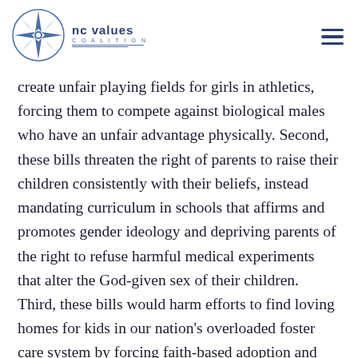NC Values Coalition
create unfair playing fields for girls in athletics, forcing them to compete against biological males who have an unfair advantage physically. Second, these bills threaten the right of parents to raise their children consistently with their beliefs, instead mandating curriculum in schools that affirms and promotes gender ideology and depriving parents of the right to refuse harmful medical experiments that alter the God-given sex of their children. Third, these bills would harm efforts to find loving homes for kids in our nation's overloaded foster care system by forcing faith-based adoption and foster care providers to violate their beliefs or stop their important work